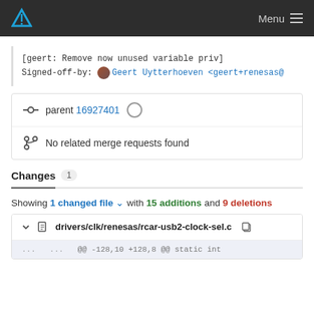Menu
[geert: Remove now unused variable priv]
Signed-off-by: Geert Uytterhoeven <geert+renesas@
parent 16927401
No related merge requests found
Changes 1
Showing 1 changed file with 15 additions and 9 deletions
drivers/clk/renesas/rcar-usb2-clock-sel.c
... ... @@ -128,10 +128,8 @@ static int